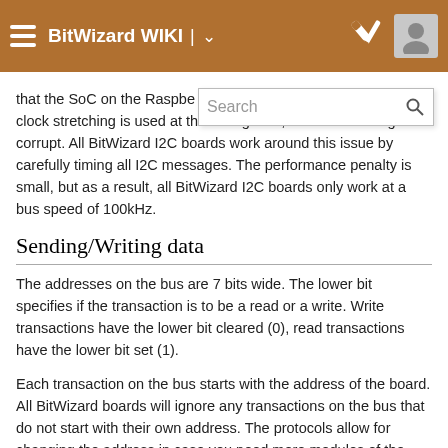BitWizard WIKI
that the SoC on the Raspberry Pi has a bug: if clock stretching is used at the wrong time, the received might be corrupt. All BitWizard I2C boards work around this issue by carefully timing all I2C messages. The performance penalty is small, but as a result, all BitWizard I2C boards only work at a bus speed of 100kHz.
Sending/Writing data
The addresses on the bus are 7 bits wide. The lower bit specifies if the transaction is to be a read or a write. Write transactions have the lower bit cleared (0), read transactions have the lower bit set (1).
Each transaction on the bus starts with the address of the board. All BitWizard boards will ignore any transactions on the bus that do not start with their own address. The protocols allow for changing the address in case you need more modules of the same type on one bus.